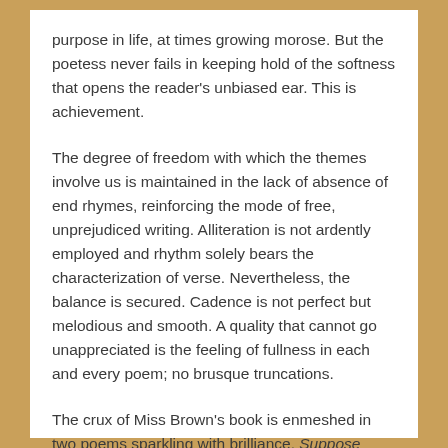purpose in life, at times growing morose. But the poetess never fails in keeping hold of the softness that opens the reader's unbiased ear. This is achievement.
The degree of freedom with which the themes involve us is maintained in the lack of absence of end rhymes, reinforcing the mode of free, unprejudiced writing. Alliteration is not ardently employed and rhythm solely bears the characterization of verse. Nevertheless, the balance is secured. Cadence is not perfect but melodious and smooth. A quality that cannot go unappreciated is the feeling of fullness in each and every poem; no brusque truncations.
The crux of Miss Brown's book is enmeshed in two poems sparkling with brilliance. Suppose glances wistfully at the irreversibility of time and its damage.
'imagine life as a chalkboard